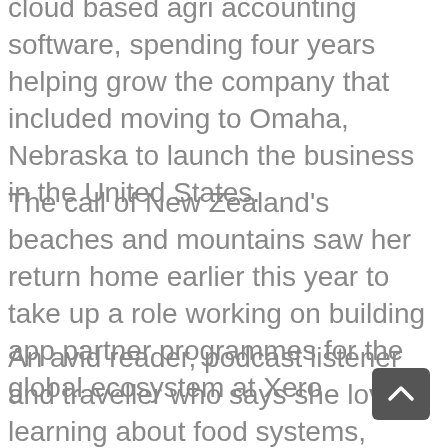cloud based agri accounting software, spending four years helping grow the company that included moving to Omaha, Nebraska to launch the business in the United States.
The call of New Zealand's beaches and mountains saw her return home earlier this year to take up a role working on building app partner programmes for the global ecosystem at Xero.
An avid reader, podcast listener and traveller who says she loves learning about food systems, politics, economics and climate change, she has found time to run her first 50 kilometre ultramarathon in February and is training